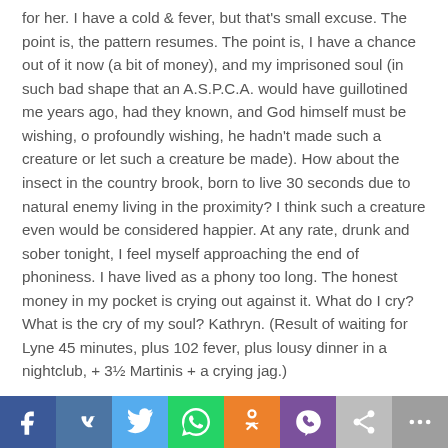for her. I have a cold & fever, but that's small excuse. The point is, the pattern resumes. The point is, I have a chance out of it now (a bit of money), and my imprisoned soul (in such bad shape that an A.S.P.C.A. would have guillotined me years ago, had they known, and God himself must be wishing, o profoundly wishing, he hadn't made such a creature or let such a creature be made). How about the insect in the country brook, born to live 30 seconds due to natural enemy living in the proximity? I think such a creature even would be considered happier. At any rate, drunk and sober tonight, I feel myself approaching the end of phoniness. I have lived as a phony too long. The honest money in my pocket is crying out against it. What do I cry? What is the cry of my soul? Kathryn. (Result of waiting for Lyne 45 minutes, plus 102 fever, plus lousy dinner in a nightclub, + 3½ Martinis + a crying jag.)
april 17, 1950: I have borne heavier crosses than Kathryn. The letter came today (written Thursday April 13) and it is not good, I suppose. She is incredibly burdened with all kinds of things if
[Figure (other): Social media share bar with icons: Facebook (blue), VK (dark blue), Twitter (light blue), WhatsApp (green), Odnoklassniki (orange), Viber (purple), share arrow (grey), more dots (dark grey)]